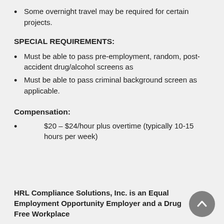Some overnight travel may be required for certain projects.
SPECIAL REQUIREMENTS:
Must be able to pass pre-employment, random, post-accident drug/alcohol screens as
Must be able to pass criminal background screen as applicable.
Compensation:
$20 – $24/hour plus overtime (typically 10-15 hours per week)
HRL Compliance Solutions, Inc. is an Equal Employment Opportunity Employer and a Drug Free Workplace